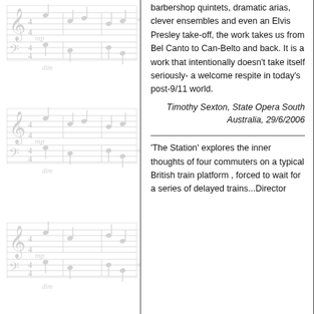[Figure (illustration): Sheet music / piano score shown as a faded background watermark on the left side of the page, showing multiple staves with notes, clefs, time signatures, and dynamic markings (mp, dim).]
barbershop quintets, dramatic arias, clever ensembles and even an Elvis Presley take-off, the work takes us from Bel Canto to Can-Belto and back. It is a work that intentionally doesn't take itself seriously- a welcome respite in today's post-9/11 world.
Timothy Sexton, State Opera South Australia, 29/6/2006
'The Station' explores the inner thoughts of four commuters on a typical British train platform , forced to wait for a series of delayed trains...Director